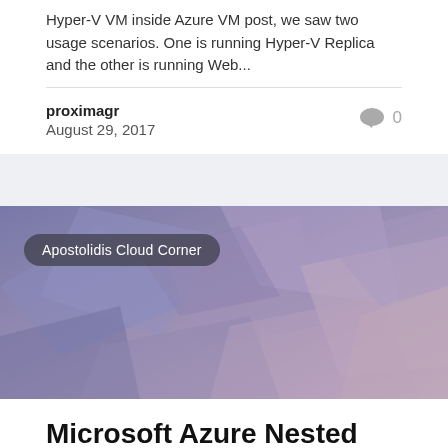Hyper-V VM inside Azure VM post, we saw two usage scenarios. One is running Hyper-V Replica and the other is running Web...
proximagr
August 29, 2017
0
[Figure (illustration): Hero banner image with low-poly geometric purple/mauve tones and a dark pill-shaped label reading 'Apostolidis Cloud Corner']
Microsoft Azure Nested Virtualization | Web Server
Microsoft Azure Nested Virtualization | Web Server At my previous post, Microsoft Azure Nested Virtualization | Hyper-V VM inside Azure VM, I described how you can set up a VM...